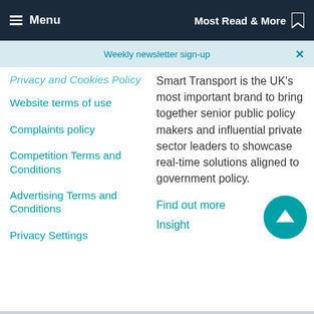Menu | Most Read & More
Weekly newsletter sign-up
Privacy and Cookies Policy
Website terms of use
Complaints policy
Competition Terms and Conditions
Advertising Terms and Conditions
Privacy Settings
Smart Transport is the UK's most important brand to bring together senior public policy makers and influential private sector leaders to showcase real-time solutions aligned to government policy.
Find out more
Insight